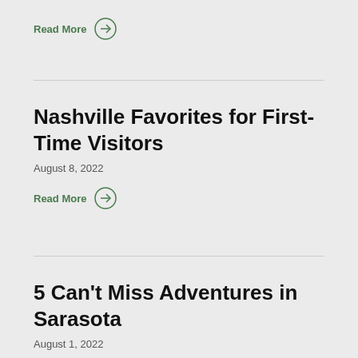Read More →
Nashville Favorites for First-Time Visitors
August 8, 2022
Read More →
5 Can't Miss Adventures in Sarasota
August 1, 2022